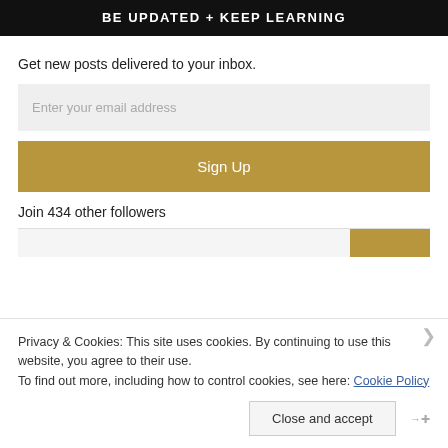BE UPDATED + KEEP LEARNING
Get new posts delivered to your inbox.
Enter your email address
Sign Up
Join 434 other followers
Privacy & Cookies: This site uses cookies. By continuing to use this website, you agree to their use.
To find out more, including how to control cookies, see here: Cookie Policy
Close and accept